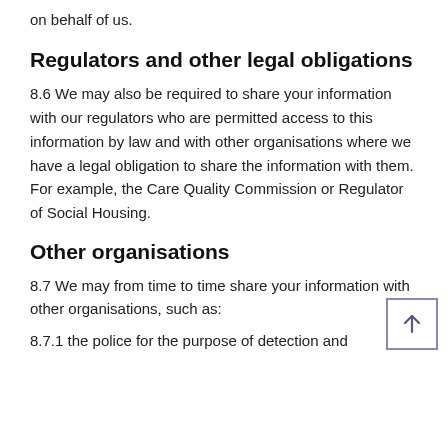on behalf of us.
Regulators and other legal obligations
8.6 We may also be required to share your information with our regulators who are permitted access to this information by law and with other organisations where we have a legal obligation to share the information with them. For example, the Care Quality Commission or Regulator of Social Housing.
Other organisations
8.7 We may from time to time share your information with other organisations, such as:
8.7.1 the police for the purpose of detection and